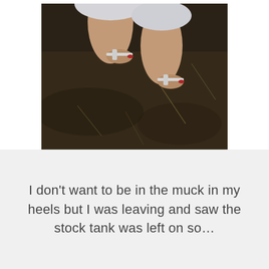[Figure (photo): A person standing in muddy/dark ground outdoors wearing white heeled sandals with red toenails, seen from above looking down at their legs and feet. White skirt or shorts visible at top.]
I don't want to be in the muck in my heels but I was leaving and saw the stock tank was left on so…